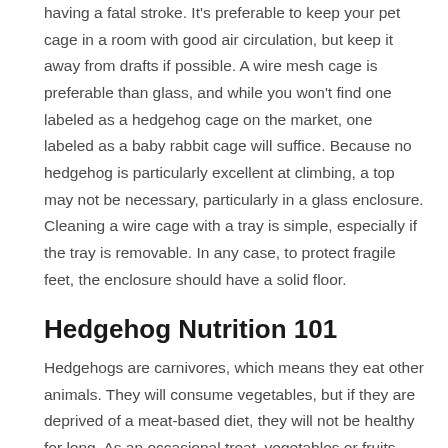having a fatal stroke. It's preferable to keep your pet cage in a room with good air circulation, but keep it away from drafts if possible. A wire mesh cage is preferable than glass, and while you won't find one labeled as a hedgehog cage on the market, one labeled as a baby rabbit cage will suffice. Because no hedgehog is particularly excellent at climbing, a top may not be necessary, particularly in a glass enclosure. Cleaning a wire cage with a tray is simple, especially if the tray is removable. In any case, to protect fragile feet, the enclosure should have a solid floor.
Hedgehog Nutrition 101
Hedgehogs are carnivores, which means they eat other animals. They will consume vegetables, but if they are deprived of a meat-based diet, they will not be healthy for long. As an occasional treat, vegetables or fruits such a little piece of carrot, apple, or banana can be offered, but the portion size should be kept minimal. Cottage cheese is a food that some hedgehogs enjoy. In the wild, hedgehogs consume largely insects, so crickets or mealworms